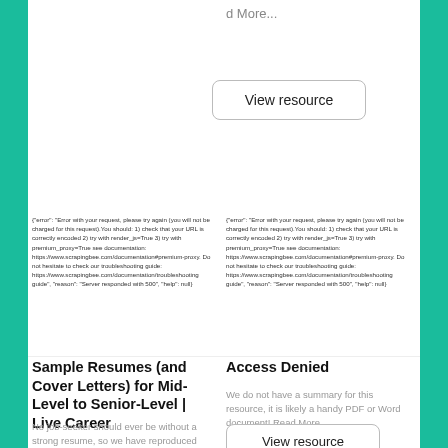d More...
View resource
{"error": "Error with your request, please try again (you will not be charged for this request).You should: 1) check that your URL is correctly encoded 2) try with render_js=True 3) try with premium_proxy=True see documentation: https://www.scrapingbee.com/documentation#premium-proxy. Do not hesitate to check our troubleshooting guide: https://www.scrapingbee.com/documentation/troubleshooting guide", "reason": "Server responded with 500", "help": null}
{"error": "Error with your request, please try again (you will not be charged for this request).You should: 1) check that your URL is correctly encoded 2) try with render_js=True 3) try with premium_proxy=True see documentation: https://www.scrapingbee.com/documentation#premium-proxy. Do not hesitate to check our troubleshooting guide: https://www.scrapingbee.com/documentation/troubleshooting guide", "reason": "Server responded with 500", "help": null}
Sample Resumes (and Cover Letters) for Mid-Level to Senior-Level | Live Career
No job-seeker should ever be without a strong resume, so we have reproduced some free examples of professionally-developed job-search exec
Access Denied
We do not have a summary for this resource, it is likely a handy PDF or Word document! Read More...
View resource